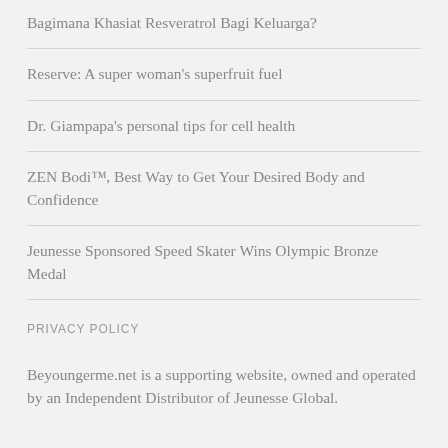Bagimana Khasiat Resveratrol Bagi Keluarga?
Reserve: A super woman's superfruit fuel
Dr. Giampapa's personal tips for cell health
ZEN Bodi™, Best Way to Get Your Desired Body and Confidence
Jeunesse Sponsored Speed Skater Wins Olympic Bronze Medal
PRIVACY POLICY
Beyoungerme.net is a supporting website, owned and operated by an Independent Distributor of Jeunesse Global.